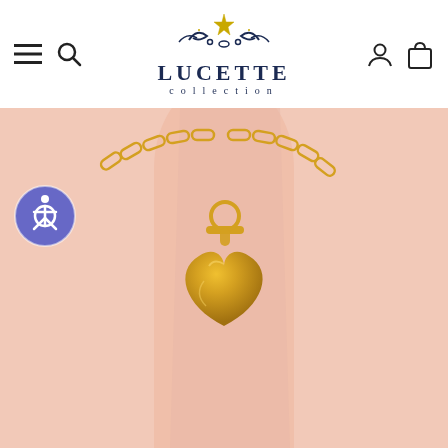[Figure (logo): Lucette Collection logo with decorative flourish and star, dark navy text reading LUCETTE in large letters and 'collection' in smaller spaced letters below]
[Figure (photo): Close-up photo of a person's neck and chest wearing a gold paperclip chain necklace with a toggle clasp and a large gold puffy heart pendant, against a pink-toned background]